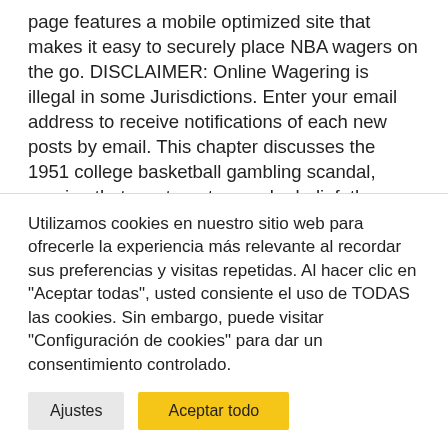page features a mobile optimized site that makes it easy to securely place NBA wagers on the go. DISCLAIMER: Online Wagering is illegal in some Jurisdictions. Enter your email address to receive notifications of each new posts by email. This chapter discusses the 1951 college basketball gambling scandal, arguing that, contrary to popular belief, the largest gambling scandal in the history of sports up to 1951 was not an isolated incident, but a product of a disease that had been growing unchecked since
Utilizamos cookies en nuestro sitio web para ofrecerle la experiencia más relevante al recordar sus preferencias y visitas repetidas. Al hacer clic en "Aceptar todas", usted consiente el uso de TODAS las cookies. Sin embargo, puede visitar "Configuración de cookies" para dar un consentimiento controlado.
Ajustes | Aceptar todo